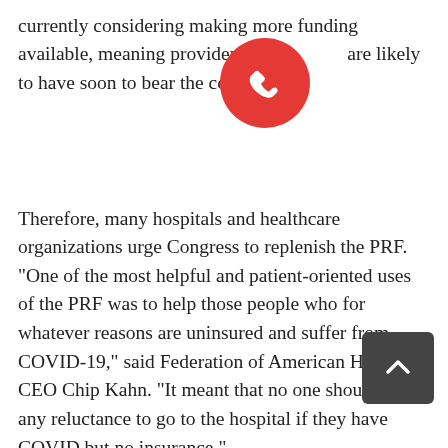currently considering making more funding available, meaning providers and patients are likely to have soon to bear the costs themselves.
[Figure (other): Red circular phone/call button icon overlaid on text]
Therefore, many hospitals and healthcare organizations urge Congress to replenish the PRF. "One of the most helpful and patient-oriented uses of the PRF was to help those people who for whatever reasons are uninsured and suffer from COVID-19," said Federation of American Hospitals CEO Chip Kahn. "It meant that no one should have any reluctance to go to the hospital if they have COVID but no insurance."
Additionally, on February 9, 2022, the American Hospital Association released a statement urging readers to contact lawmakers to get Congress to provide another $25 billion for the PRF in the government funding package. Read the AHA's action alert here.
[Figure (other): Dark grey back-to-top arrow button in bottom right corner]
As we approach nearly two years since HHS declared